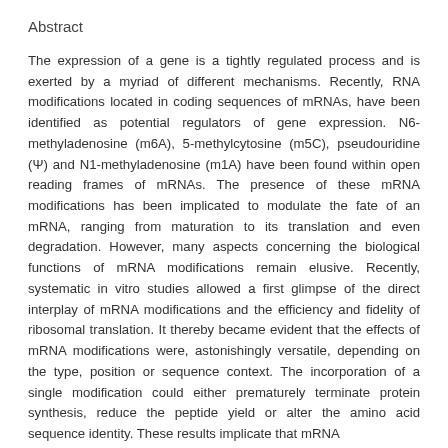Abstract
The expression of a gene is a tightly regulated process and is exerted by a myriad of different mechanisms. Recently, RNA modifications located in coding sequences of mRNAs, have been identified as potential regulators of gene expression. N6-methyladenosine (m6A), 5-methylcytosine (m5C), pseudouridine (Ψ) and N1-methyladenosine (m1A) have been found within open reading frames of mRNAs. The presence of these mRNA modifications has been implicated to modulate the fate of an mRNA, ranging from maturation to its translation and even degradation. However, many aspects concerning the biological functions of mRNA modifications remain elusive. Recently, systematic in vitro studies allowed a first glimpse of the direct interplay of mRNA modifications and the efficiency and fidelity of ribosomal translation. It thereby became evident that the effects of mRNA modifications were, astonishingly versatile, depending on the type, position or sequence context. The incorporation of a single modification could either prematurely terminate protein synthesis, reduce the peptide yield or alter the amino acid sequence identity. These results implicate that mRNA